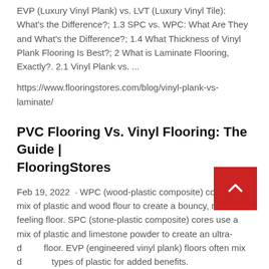EVP (Luxury Vinyl Plank) vs. LVT (Luxury Vinyl Tile): What's the Difference?; 1.3 SPC vs. WPC: What Are They and What's the Difference?; 1.4 What Thickness of Vinyl Plank Flooring Is Best?; 2 What is Laminate Flooring, Exactly?. 2.1 Vinyl Plank vs. ...
https://www.flooringstores.com/blog/vinyl-plank-vs-laminate/
PVC Flooring Vs. Vinyl Flooring: The Guide | FlooringStores
Feb 19, 2022 · WPC (wood-plastic composite) cores use a mix of plastic and wood flour to create a bouncy, natural-feeling floor. SPC (stone-plastic composite) cores use a mix of plastic and limestone powder to create an ultra-d floor. EVP (engineered vinyl plank) floors often mix d types of plastic for added benefits.
https://www.flooringstores.com/blog/pvc-flooring/